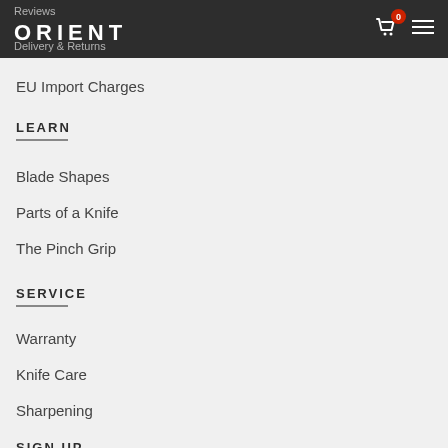Reviews | ORIENT | Delivery & Returns
EU Import Charges
LEARN
Blade Shapes
Parts of a Knife
The Pinch Grip
SERVICE
Warranty
Knife Care
Sharpening
SIGN UP